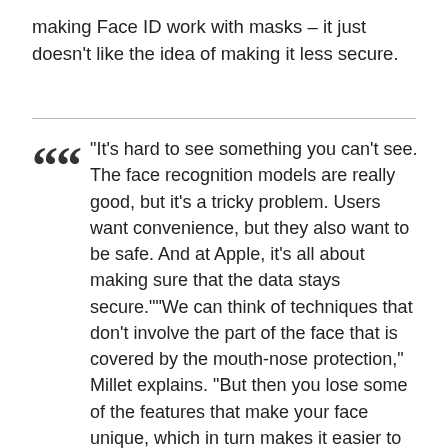making Face ID work with masks – it just doesn't like the idea of making it less secure.
"It's hard to see something you can't see. The face recognition models are really good, but it's a tricky problem. Users want convenience, but they also want to be safe. And at Apple, it's all about making sure that the data stays secure.""We can think of techniques that don't involve the part of the face that is covered by the mouth-nose protection," Millet explains. "But then you lose some of the features that make your face unique, which in turn makes it easier to imagine that someone could unlock the phone."